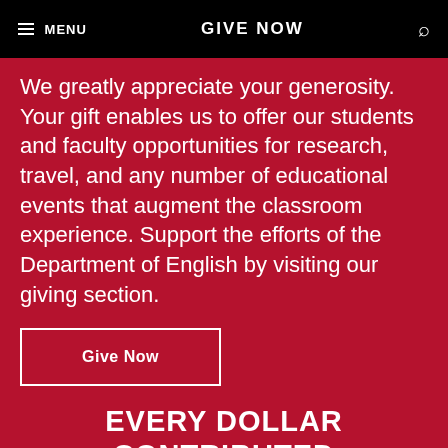MENU | GIVE NOW
We greatly appreciate your generosity. Your gift enables us to offer our students and faculty opportunities for research, travel, and any number of educational events that augment the classroom experience. Support the efforts of the Department of English by visiting our giving section.
Give Now
EVERY DOLLAR CONTRIBUTED TO THE DEPARTMENT HAS A